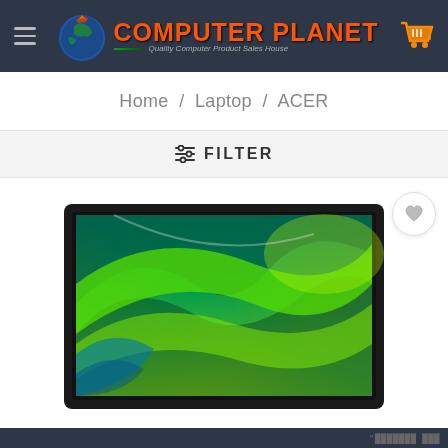[Figure (logo): Computer Planet website header with logo, brand name, and shopping cart icon on dark background]
Home / Laptop / ACER
≡ FILTER
[Figure (photo): Acer laptop with green and teal abstract wallpaper displayed on screen, viewed from the front]